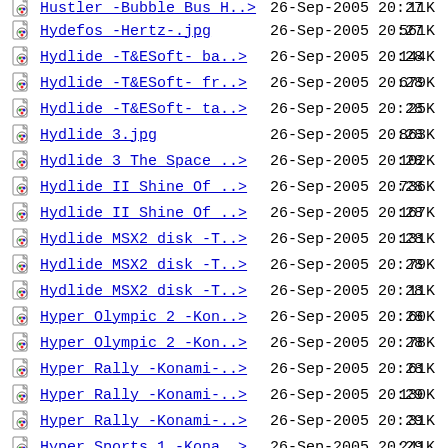Hydefos -Hertz-.jpg  26-Sep-2005 20:27  561K
Hydlide -T&ESoft- ba..>  26-Sep-2005 20:28  144K
Hydlide -T&ESoft- fr..>  26-Sep-2005 20:28  679K
Hydlide -T&ESoft- ta..>  26-Sep-2005 20:28  25K
Hydlide 3.jpg  26-Sep-2005 20:28  863K
Hydlide 3 The Space ..>  26-Sep-2005 20:28  102K
Hydlide II Shine Of ..>  26-Sep-2005 20:28  736K
Hydlide II Shine Of ..>  26-Sep-2005 20:28  167K
Hydlide MSX2 disk -T..>  26-Sep-2005 20:28  131K
Hydlide MSX2 disk -T..>  26-Sep-2005 20:28  79K
Hydlide MSX2 disk -T..>  26-Sep-2005 20:28  11K
Hyper Olympic 2 -Kon..>  26-Sep-2005 20:28  60K
Hyper Olympic 2 -Kon..>  26-Sep-2005 20:28  78K
Hyper Rally -Konami-..>  26-Sep-2005 20:28  61K
Hyper Rally -Konami-..>  26-Sep-2005 20:29  130K
Hyper Rally -Konami-..>  26-Sep-2005 20:29  31K
Hyper Sports 1 -Kona..>  26-Sep-2005 20:29  241K